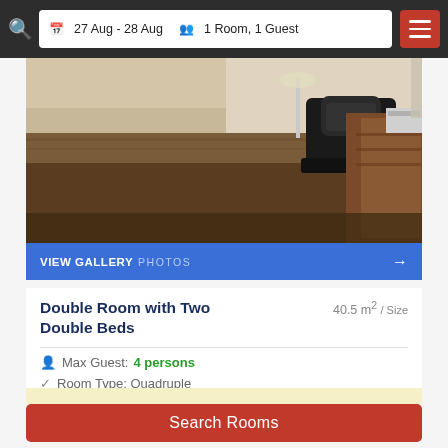27 Aug - 28 Aug  1 Room, 1 Guest
[Figure (photo): Hotel room interior showing a dark wooden desk with a black office chair and a bed with brown/patterned bedding visible on the right side]
VIEW GALLERY  PHOTOS
Double Room with Two Double Beds
40.5 m² / Size
Max Guest: 4 persons
Room Type: Quadruple
2 double beds
Search Rooms